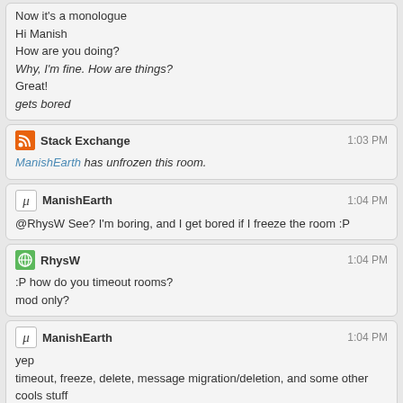Now it's a monologue
Hi Manish
How are you doing?
Why, I'm fine. How are things?
Great!
gets bored
Stack Exchange  1:03 PM
ManishEarth has unfrozen this room.
ManishEarth  1:04 PM
@RhysW See? I'm boring, and I get bored if I freeze the room :P
RhysW  1:04 PM
:P how do you timeout rooms?
mod only?
ManishEarth  1:04 PM
yep
timeout, freeze, delete, message migration/deletion, and some other cools stuff
RhysW  1:04 PM
ah, yeah i presumed delete would be, and freeze too, but timeout i thought might not be
ManishEarth  1:05 PM
timeout is cool